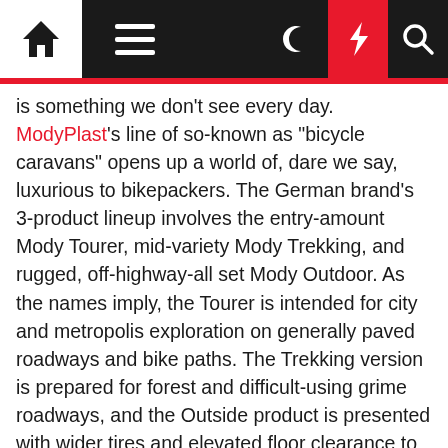[Navigation bar with home, menu, moon, flash, and search icons]
is something we don't see every day. ModyPlast's line of so-known as "bicycle caravans" opens up a world of, dare we say, luxurious to bikepackers. The German brand's 3-product lineup involves the entry-amount Mody Tourer, mid-variety Mody Trekking, and rugged, off-highway-all set Mody Outdoor. As the names imply, the Tourer is intended for city and metropolis exploration on generally paved roadways and bike paths. The Trekking version is prepared for forest and difficult-using grime roadways, and the Outside product is presented with wider tires and elevated floor clearance to deal with the roughest terrain more than mud, sandy slopes, and little branches.
Each and every trim degree starts with a lightweight fiberglass shell with the alternative to up grade to a